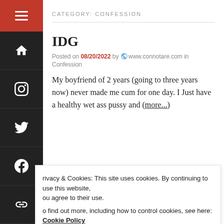CATEGORY: CONFESSION
IDG
Posted on 08/20/2022 by www.connotare.com in Confession
My boyfriend of 2 years (going to three years now) never made me cum for one day. I Just have a healthy wet ass pussy and (more...)
Privacy & Cookies: This site uses cookies. By continuing to use this website, you agree to their use. To find out more, including how to control cookies, see here: Cookie Policy
Posted on 08/20/2022 by www.connotare.com in Confession